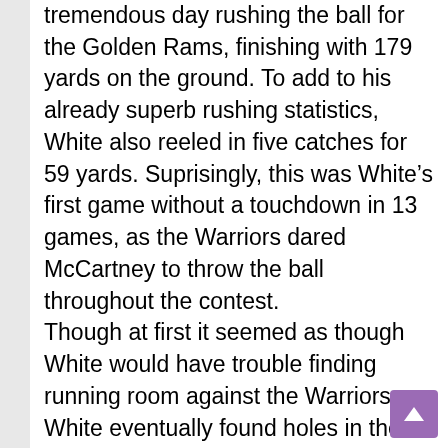tremendous day rushing the ball for the Golden Rams, finishing with 179 yards on the ground. To add to his already superb rushing statistics, White also reeled in five catches for 59 yards. Suprisingly, this was White's first game without a touchdown in 13 games, as the Warriors dared McCartney to throw the ball throughout the contest. Though at first it seemed as though White would have trouble finding running room against the Warriors, White eventually found holes in the defense, gaining multiple yards time and time again. As one of the leaders of this offense, White continues to play at a superb level, with this being his fourth 100-yard game on the season. White should continue to play at this level, even with West Chester's